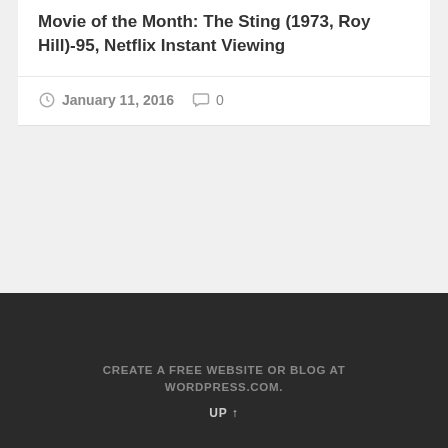Movie of the Month: The Sting (1973, Roy Hill)-95, Netflix Instant Viewing
January 11, 2016   0
CREATE A FREE WEBSITE OR BLOG AT WORDPRESS.COM.
UP ↑